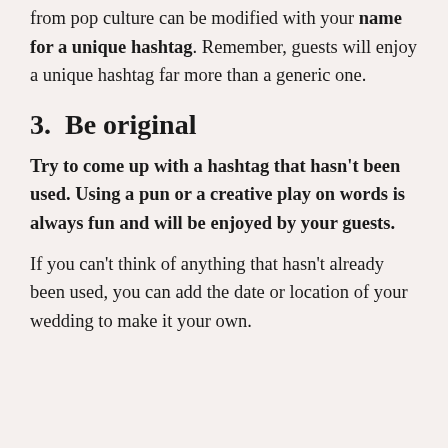from pop culture can be modified with your name for a unique hashtag. Remember, guests will enjoy a unique hashtag far more than a generic one.
3.  Be original
Try to come up with a hashtag that hasn't been used. Using a pun or a creative play on words is always fun and will be enjoyed by your guests.
If you can't think of anything that hasn't already been used, you can add the date or location of your wedding to make it your own.